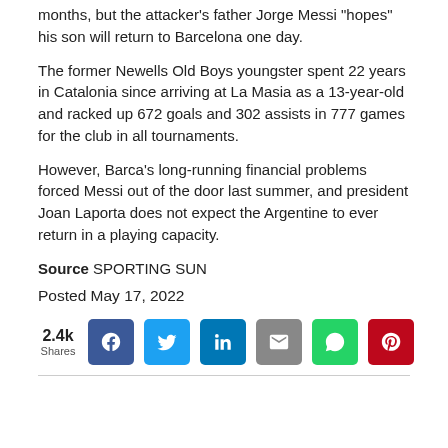months, but the attacker's father Jorge Messi “hopes” his son will return to Barcelona one day.
The former Newells Old Boys youngster spent 22 years in Catalonia since arriving at La Masia as a 13-year-old and racked up 672 goals and 302 assists in 777 games for the club in all tournaments.
However, Barca’s long-running financial problems forced Messi out of the door last summer, and president Joan Laporta does not expect the Argentine to ever return in a playing capacity.
Source SPORTING SUN
Posted May 17, 2022
[Figure (infographic): Social share buttons row showing 2.4k Shares count, followed by Facebook, Twitter, LinkedIn, email, WhatsApp, and Pinterest share buttons]